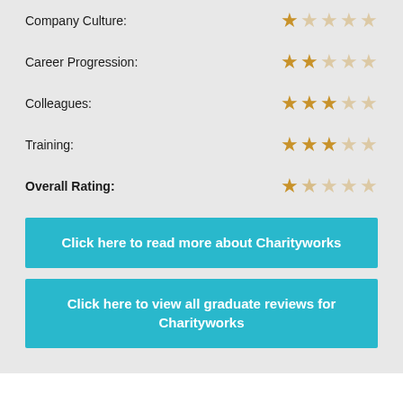Company Culture: 1/5 stars
Career Progression: 2/5 stars
Colleagues: 3/5 stars
Training: 3/5 stars
Overall Rating: 1.5/5 stars
Click here to read more about Charityworks
Click here to view all graduate reviews for Charityworks
Leave a Reply
You must be logged in to post a comment.